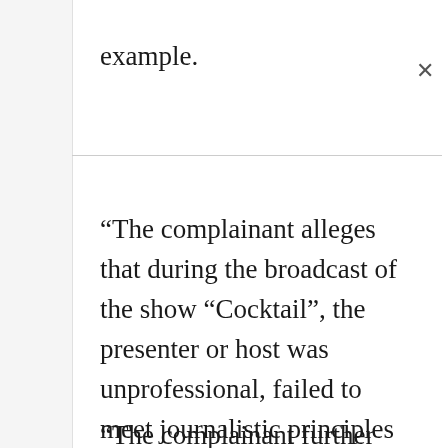example.
“The complainant alleges that during the broadcast of the show “Cocktail”, the presenter or host was unprofessional, failed to meet journalistic principles or ethics, and thus breached the broadcasting standards,” the UCC Ag. Executive Director Irene Kaggwa Sewankambo wrote on 22 April 2020.
“The complainant further alleges that during